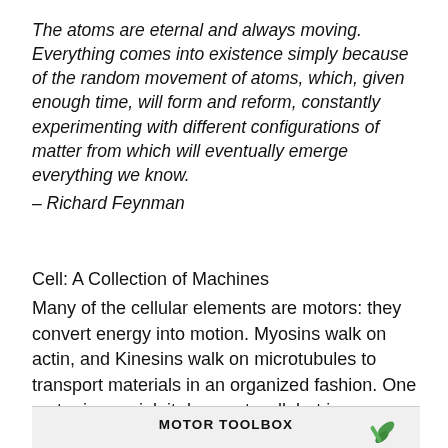The atoms are eternal and always moving. Everything comes into existence simply because of the random movement of atoms, which, given enough time, will form and reform, constantly experimenting with different configurations of matter from which will eventually emerge everything we know.
– Richard Feynman
Cell: A Collection of Machines
Many of the cellular elements are motors: they convert energy into motion. Myosins walk on actin, and Kinesins walk on microtubules to transport materials in an organized fashion. One motor is special: it does not walk but is responsible for the synthesis of ATP.
[Figure (other): Partial view of a figure labeled 'MOTOR TOOLBOX' with a green molecular structure visible at the right edge]